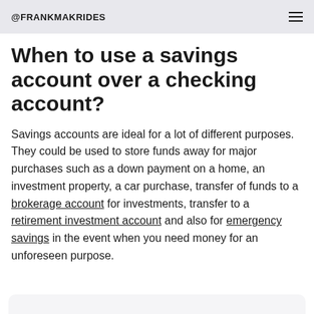@FRANKMAKRIDES
When to use a savings account over a checking account?
Savings accounts are ideal for a lot of different purposes. They could be used to store funds away for major purchases such as a down payment on a home, an investment property, a car purchase, transfer of funds to a brokerage account for investments, transfer to a retirement investment account and also for emergency savings in the event when you need money for an unforeseen purpose.